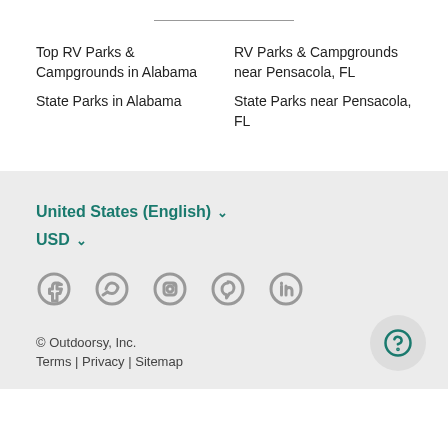Top RV Parks & Campgrounds in Alabama
State Parks in Alabama
RV Parks & Campgrounds near Pensacola, FL
State Parks near Pensacola, FL
United States (English) ∨
USD ∨
© Outdoorsy, Inc.
Terms | Privacy | Sitemap